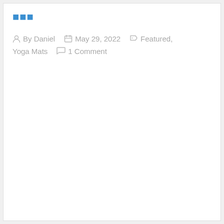...
By Daniel   May 29, 2022   Featured, Yoga Mats   1 Comment